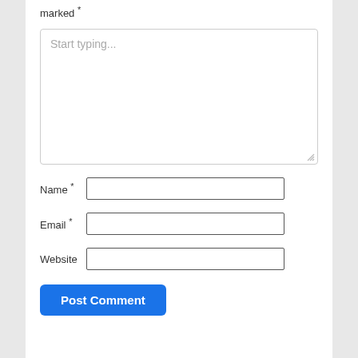marked *
[Figure (screenshot): A web comment form with a textarea placeholder 'Start typing...', fields for Name *, Email *, Website, and a blue 'Post Comment' button.]
Name *
Email *
Website
Post Comment